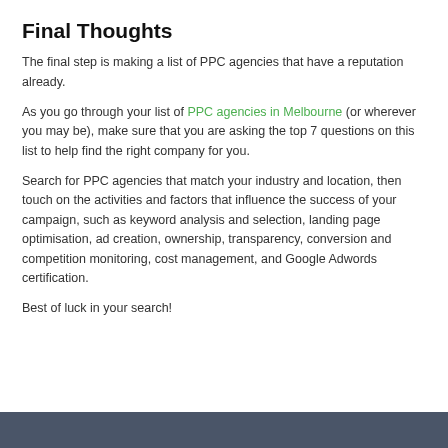Final Thoughts
The final step is making a list of PPC agencies that have a reputation already.
As you go through your list of PPC agencies in Melbourne (or wherever you may be), make sure that you are asking the top 7 questions on this list to help find the right company for you.
Search for PPC agencies that match your industry and location, then touch on the activities and factors that influence the success of your campaign, such as keyword analysis and selection, landing page optimisation, ad creation, ownership, transparency, conversion and competition monitoring, cost management, and Google Adwords certification.
Best of luck in your search!